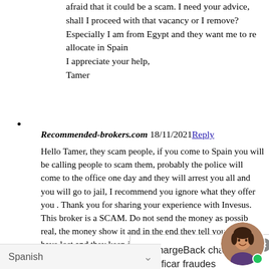afraid that it could be a scam. I need your advice, shall I proceed with that vacancy or I remove? Especially I am from Egypt and they want me to re allocate in Spain
I appreciate your help,
Tamer
Recommended-brokers.com 18/11/2021 Reply

Hello Tamer, they scam people, if you come to Spain you will be calling people to scam them, probably the police will come to the office one day and they will arrest you all and you will go to jail, I recommend you ignore what they offer you . Thank you for sharing your experience with Invesus. This broker is a SCAM. Do not send them any money as possible, if they show you that the money is real, the money that they show it and in the end they tell you that you have lost and they keep it.

If you have more information about the company, share it with us, especially if it is
[Figure (other): MyChargeBack chat popup overlay with text 'MyChargeBack chat para identificar fraudes' and a female avatar with a green online indicator dot]